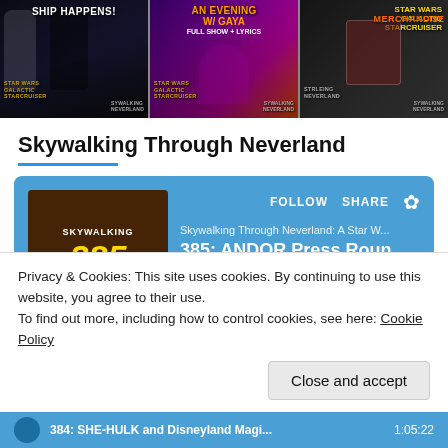[Figure (screenshot): Three video thumbnails in a row: 'Ship Happens!' Star Wars Galactic Starcruiser thumbnail, 'An Evening w/ Gaya Full Show + Lyrics' Star Wars Galactic Starcruiser thumbnail, and a Star Wars Galactic Starcruiser Merchandise thumbnail]
Skywalking Through Neverland
[Figure (screenshot): Podcast player card for 'Skywalking Through Neverland: A Star W...' showing episode '385: ANDOR Press Roundtab' with album art, progress bar at 0:00 of 1:39:39, FOLLOW and SHARE buttons]
Privacy & Cookies: This site uses cookies. By continuing to use this website, you agree to their use.
To find out more, including how to control cookies, see here: Cookie Policy
Close and accept
384: SHE-HULK and Disneyland Magi... 1:05:22